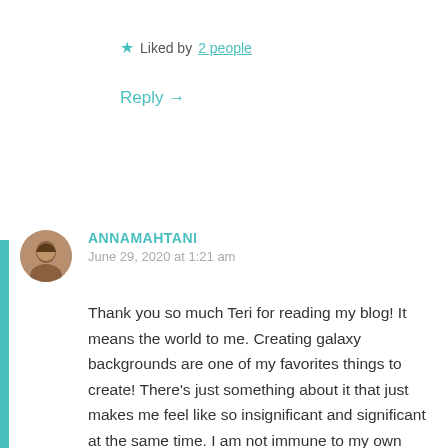★ Liked by 2 people
Reply →
ANNAMAHTANI
June 29, 2020 at 1:21 am
Thank you so much Teri for reading my blog! It means the world to me. Creating galaxy backgrounds are one of my favorites things to create! There's just something about it that just makes me feel like so insignificant and significant at the same time. I am not immune to my own biases but I'm trying to move past those as well.. Important thing is that I'm